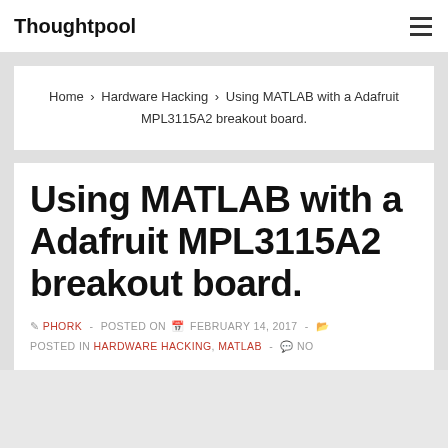Thoughtpool
Home › Hardware Hacking › Using MATLAB with a Adafruit MPL3115A2 breakout board.
Using MATLAB with a Adafruit MPL3115A2 breakout board.
PHORK - POSTED ON FEBRUARY 14, 2017 - POSTED IN HARDWARE HACKING, MATLAB - NO